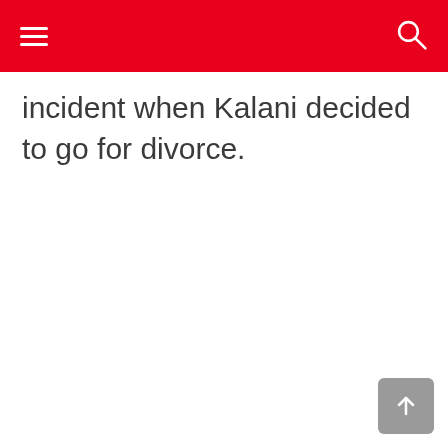incident when Kalani decided to go for divorce.